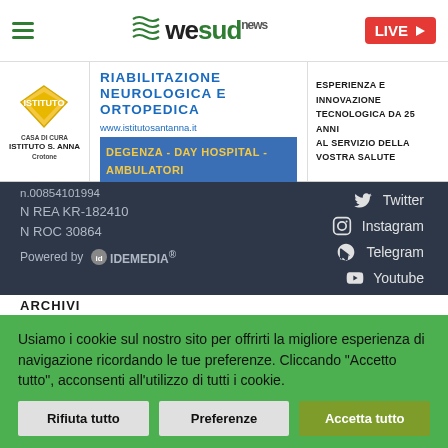wesud news — navigation bar with hamburger menu and LIVE badge
[Figure (infographic): Advertisement banner for Istituto S. Anna Crotone — Riabilitazione Neurologica e Ortopedica, www.istitutosantanna.it, Esperienza e Innovazione Tecnologica da 25 anni al servizio della vostra salute. Degenza - Day Hospital - Ambulatori]
N REA KR-182410
N ROC 30864
Powered by IDEMEDIA®
Twitter
Instagram
Telegram
Youtube
ARCHIVI
Usiamo i cookie sul nostro sito per offrirti la migliore esperienza di navigazione ricordando le tue preferenze. Cliccando "Accetto tutto", acconsenti all'utilizzo di tutti i cookie.